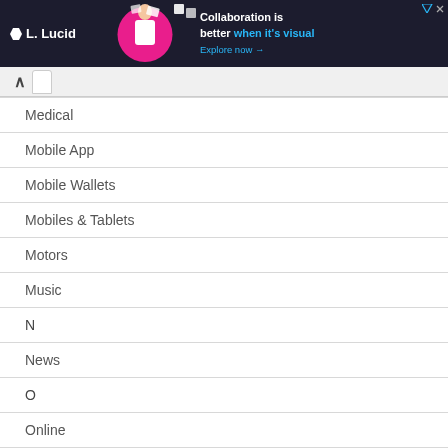[Figure (screenshot): Lucid advertisement banner: dark background with Lucid logo on left, woman with papers in center over magenta circle, text 'Collaboration is better when it's visual' and 'Explore now →' on right]
Medical
Mobile App
Mobile Wallets
Mobiles & Tablets
Motors
Music
N
News
O
Online
Online Shopping